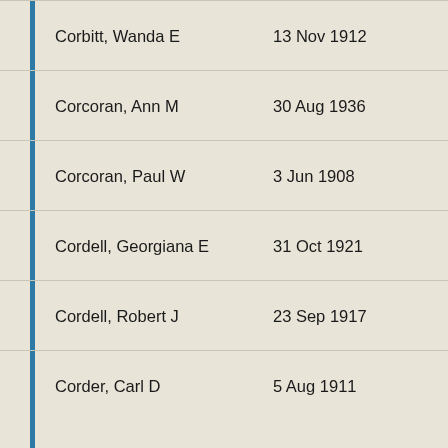| Name | Date |
| --- | --- |
| Corbitt, Wanda E | 13 Nov 1912 |
| Corcoran, Ann M | 30 Aug 1936 |
| Corcoran, Paul W | 3 Jun 1908 |
| Cordell, Georgiana E | 31 Oct 1921 |
| Cordell, Robert J | 23 Sep 1917 |
| Corder, Carl D | 5 Aug 1911 |